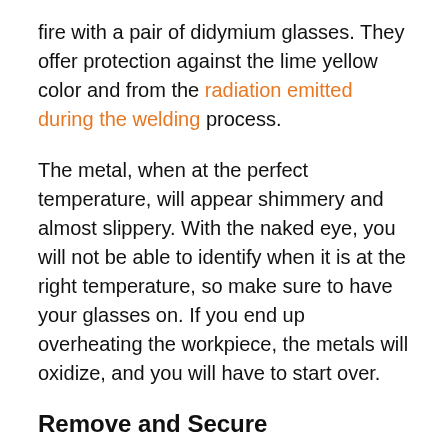fire with a pair of didymium glasses. They offer protection against the lime yellow color and from the radiation emitted during the welding process.
The metal, when at the perfect temperature, will appear shimmery and almost slippery. With the naked eye, you will not be able to identify when it is at the right temperature, so make sure to have your glasses on. If you end up overheating the workpiece, the metals will oxidize, and you will have to start over.
Remove and Secure
The next step is to remove the joint metals from the fire and secure them with a piece of metal wire. Doing so forms the primary weld